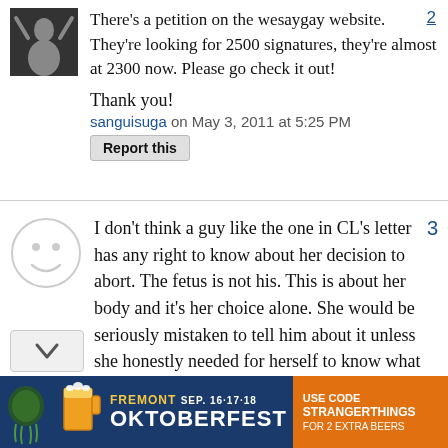[Figure (photo): Small avatar photo of a person with arms raised]
There's a petition on the wesaygay website. They're looking for 2500 signatures, they're almost at 2300 now. Please go check it out!
Thank you!
sanguisuga on May 3, 2011 at 5:25 PM
Report this
[Figure (illustration): Smiley face circle avatar]
I don't think a guy like the one in CL's letter has any right to know about her decision to abort. The fetus is not his. This is about her body and it's her choice alone. She would be seriously mistaken to tell him about it unless she honestly needed for herself to know what his wishes were. By all means tell him
[Figure (other): Fremont Oktoberfest advertisement banner - Sep. 16·17·18, Use Code STRANGERTHINGS FOR 2 EXTRA BEERS]